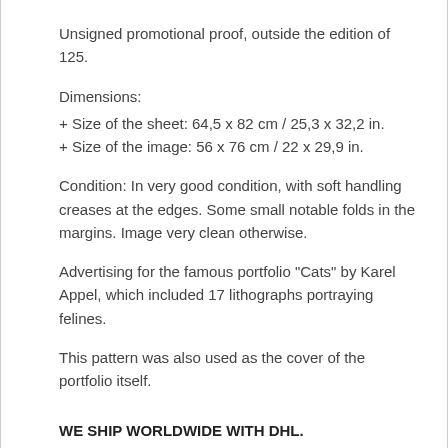Unsigned promotional proof, outside the edition of 125.
Dimensions:
+ Size of the sheet: 64,5 x 82 cm / 25,3 x 32,2 in.
+ Size of the image: 56 x 76 cm / 22 x 29,9 in.
Condition: In very good condition, with soft handling creases at the edges. Some small notable folds in the margins. Image very clean otherwise.
Advertising for the famous portfolio "Cats" by Karel Appel, which included 17 lithographs portraying felines.
This pattern was also used as the cover of the portfolio itself.
WE SHIP WORLDWIDE WITH DHL.